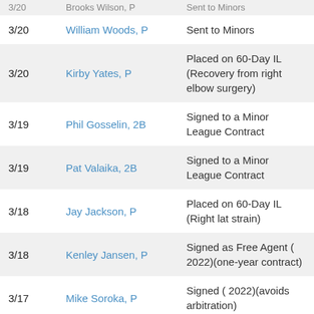| Date | Player | Transaction |
| --- | --- | --- |
| 3/20 | William Woods, P | Sent to Minors |
| 3/20 | Kirby Yates, P | Placed on 60-Day IL (Recovery from right elbow surgery) |
| 3/19 | Phil Gosselin, 2B | Signed to a Minor League Contract |
| 3/19 | Pat Valaika, 2B | Signed to a Minor League Contract |
| 3/18 | Jay Jackson, P | Placed on 60-Day IL (Right lat strain) |
| 3/18 | Kenley Jansen, P | Signed as Free Agent ( 2022)(one-year contract) |
| 3/17 | Mike Soroka, P | Signed ( 2022)(avoids arbitration) |
| 3/16 | Alex Dickerson, RF | Signed as Free Agent ( 2022)(one-year contract) |